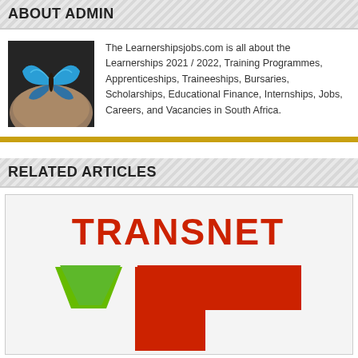ABOUT ADMIN
[Figure (photo): Photo of a person's shoulder with a blue butterfly tattoo on a dark background]
The Learnershipsjobs.com is all about the Learnerships 2021 / 2022, Training Programmes, Apprenticeships, Traineeships, Bursaries, Scholarships, Educational Finance, Internships, Jobs, Careers, and Vacancies in South Africa.
RELATED ARTICLES
[Figure (logo): Transnet logo — red TRANSNET text at top with a large red angular T-shape icon and a green downward-pointing chevron/arrow to the left]